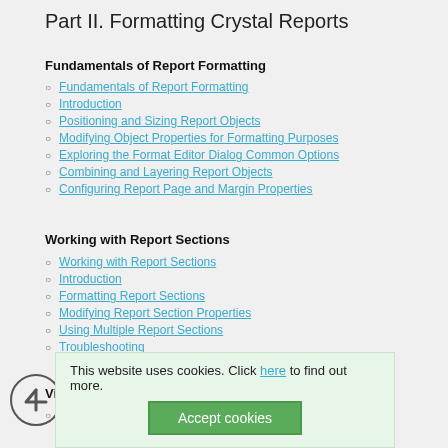Part II. Formatting Crystal Reports
Fundamentals of Report Formatting
Fundamentals of Report Formatting
Introduction
Positioning and Sizing Report Objects
Modifying Object Properties for Formatting Purposes
Exploring the Format Editor Dialog Common Options
Combining and Layering Report Objects
Configuring Report Page and Margin Properties
Working with Report Sections
Working with Report Sections
Introduction
Formatting Report Sections
Modifying Report Section Properties
Using Multiple Report Sections
Troubleshooting
Visualizing Your Data with Charts and Maps
Introduction to Charts and Maps
This website uses cookies. Click here to find out more.